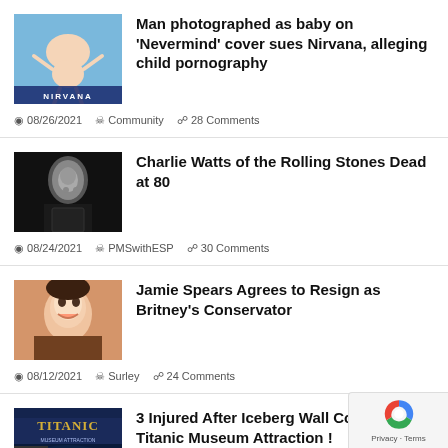[Figure (photo): Nirvana Nevermind album cover thumbnail with NIRVANA text at bottom]
Man photographed as baby on 'Nevermind' cover sues Nirvana, alleging child pornography
08/26/2021  Community  28 Comments
[Figure (photo): Black and white photo of an older man in a suit (Charlie Watts)]
Charlie Watts of the Rolling Stones Dead at 80
08/24/2021  PMSwithESP  30 Comments
[Figure (photo): Photo of a smiling young woman (Britney Spears)]
Jamie Spears Agrees to Resign as Britney's Conservator
08/12/2021  Surley  24 Comments
[Figure (photo): Titanic museum attraction promotional image with TITANIC text]
3 Injured After Iceberg Wall Collapse at Titanic Museum Attraction !